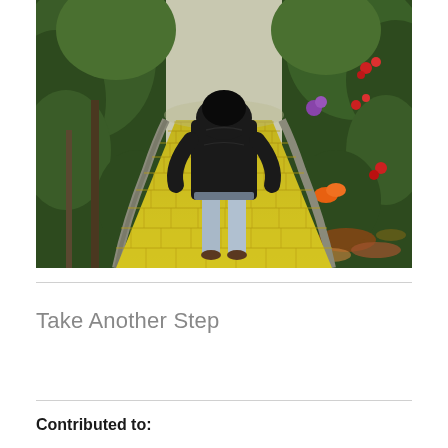[Figure (photo): A person wearing a black jacket and light blue jeans walking away from the camera on a yellow brick road, with green foliage and colorful flowers on either side, autumn leaves on the ground to the right.]
Take Another Step
Contributed to: